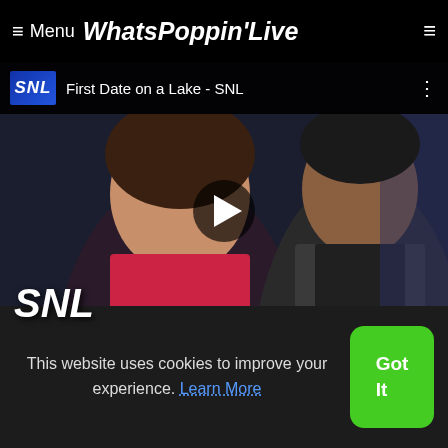≡ Menu WhatsPoppin'Live
[Figure (screenshot): Video thumbnail for 'First Date on a Lake - SNL' showing two people, with SNL logo and play button overlay]
[Figure (photo): Thumbnail card for Shaq's All Star Comedy Roast 2]
Shaq's All Star Comedy Roast 2
This website uses cookies to improve your experience. Learn More
Got It